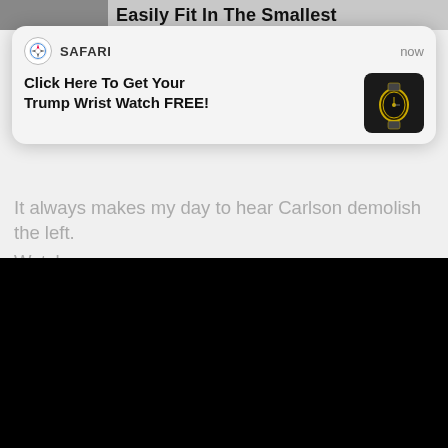[Figure (screenshot): Partially visible top banner with image and bold text 'Easily Fit In The Smallest']
[Figure (screenshot): Safari browser notification popup reading 'Click Here To Get Your Trump Wrist Watch FREE!' with a wristwatch thumbnail image, labeled SAFARI and timestamped 'now']
It always makes my day to hear Carlson demolish the left. Watch:
[Figure (screenshot): Black video player rectangle]